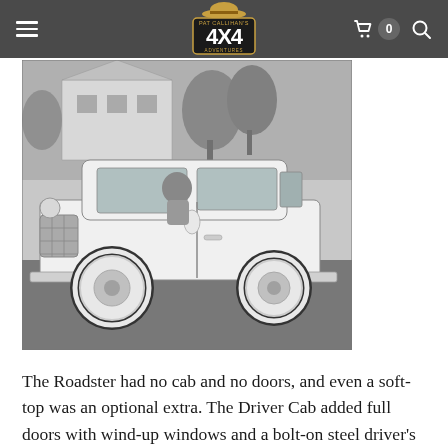Pat Callihan's 4X4 Adventures — navigation header with hamburger menu, logo, cart (0), and search icon
[Figure (photo): Black and white photograph of a classic Ford Bronco (early generation, white body) parked on a driveway or street in front of a house with trees. A person is visible inside the vehicle. The Bronco has a hardtop cab, large tires with whitewall hubcaps, and a boxy body style.]
The Roadster had no cab and no doors, and even a soft-top was an optional extra. The Driver Cab added full doors with wind-up windows and a bolt-on steel driver's